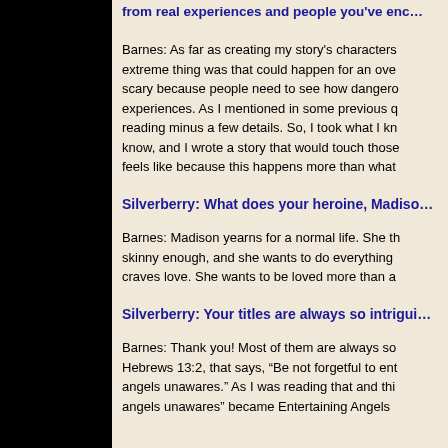from real experiences and people you've enc...
Barnes: As far as creating my story's characters... extreme thing was that could happen for an ove... scary because people need to see how dangero... experiences. As I mentioned in some previous q... reading minus a few details. So, I took what I kn... know, and I wrote a story that would touch those... feels like because this happens more than what...
Silverberry: What does your heroine, Madiso...
Barnes: Madison yearns for a normal life. She th... skinny enough, and she wants to do everything ... craves love. She wants to be loved more than a...
Silverberry: Your titles are always so intrigui...
Barnes: Thank you! Most of them are always so... Hebrews 13:2, that says, "Be not forgetful to ent... angels unawares." As I was reading that and thi... angels unawares" became Entertaining Angels...